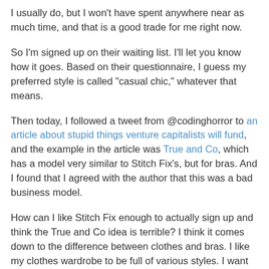I usually do, but I won't have spent anywhere near as much time, and that is a good trade for me right now.
So I'm signed up on their waiting list. I'll let you know how it goes. Based on their questionnaire, I guess my preferred style is called "casual chic," whatever that means.
Then today, I followed a tweet from @codinghorror to an article about stupid things venture capitalists will fund, and the example in the article was True and Co, which has a model very similar to Stitch Fix's, but for bras. And I found that I agreed with the author that this was a bad business model.
How can I like Stitch Fix enough to actually sign up and think the True and Co idea is terrible? I think it comes down to the difference between clothes and bras. I like my clothes wardrobe to be full of various styles. I want my outfits to be relatively unique to me, maybe even interesting (not that you could tell by what I currently own, but it is true- this is one of the reasons I love buying clothes when I travel internationally). I tend to see my clothes as an expression of